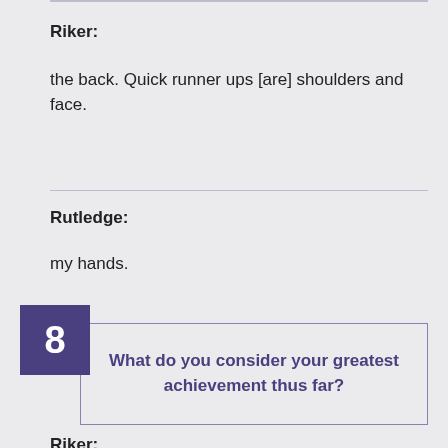Riker:
the back. Quick runner ups [are] shoulders and face.
Rutledge:
my hands.
8  What do you consider your greatest achievement thus far?
Riker: